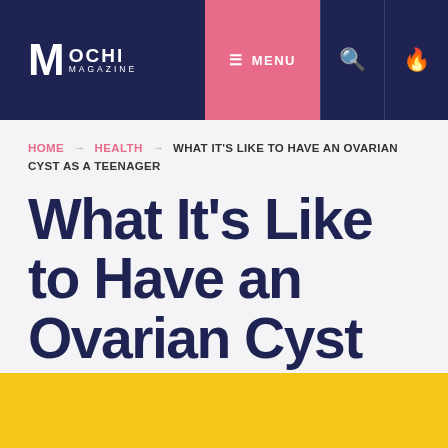MOCHI MAGAZINE — Navigation header with MENU, search, and fire icons
HOME → HEALTH → WHAT IT'S LIKE TO HAVE AN OVARIAN CYST AS A TEENAGER
What It's Like to Have an Ovarian Cyst as a Teenager
[Figure (photo): Yellow/gold colored image area at the bottom of the page]